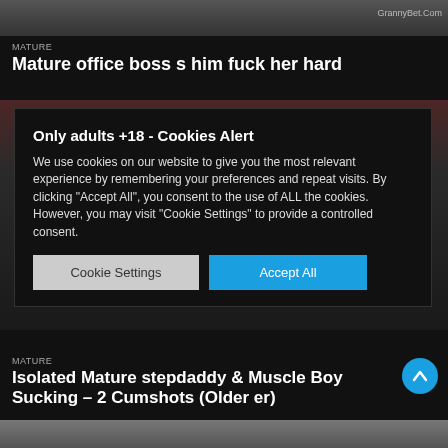[Figure (screenshot): Top partial image strip of a video thumbnail with watermark GrannyBet.Com]
MATURE
Mature office boss s him fuck her hard
[Figure (screenshot): Cookie consent modal dialog overlay on a dark background with blurred video thumbnail]
Only adults +18 - Cookies Alert
We use cookies on our website to give you the most relevant experience by remembering your preferences and repeat visits. By clicking "Accept All", you consent to the use of ALL the cookies. However, you may visit "Cookie Settings" to provide a controlled consent.
MATURE
Isolated Mature stepdaddy & Muscle Boy Sucking – 2 Cumshots (Older er)
[Figure (screenshot): Bottom partial image strip of another video thumbnail]